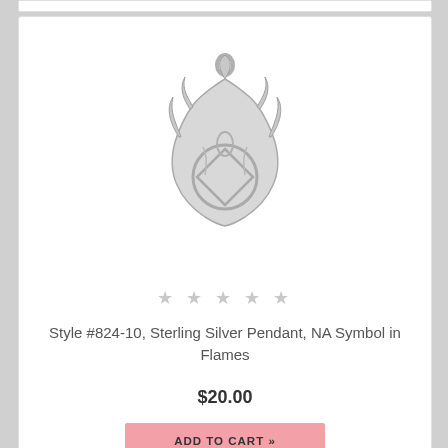[Figure (photo): Sterling silver pendant shaped like a flame with NA (Narcotics Anonymous) symbol in the center, with a small ring at the top for attaching to a chain. The pendant is silver/grey colored.]
★ ★ ★ ★ ★
Style #824-10, Sterling Silver Pendant, NA Symbol in Flames
$20.00
ADD TO CART »